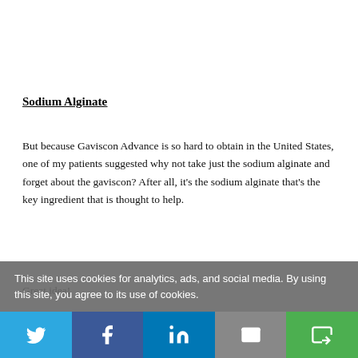Sodium Alginate
But because Gaviscon Advance is so hard to obtain in the United States, one of my patients suggested why not take just the sodium alginate and forget about the gaviscon? After all, it's the sodium alginate that's the key ingredient that is thought to help.
Great idea!
This site uses cookies for analytics, ads, and social media. By using this site, you agree to its use of cookies.